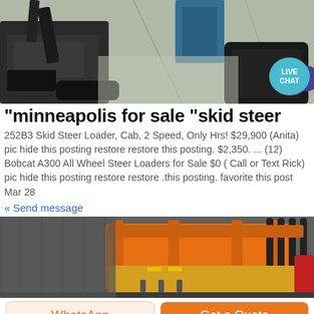[Figure (photo): Photo of a small black excavator/skid steer on a concrete floor inside a warehouse, with a blue machine visible in background]
"minneapolis for sale "skid steer
252B3 Skid Steer Loader, Cab, 2 Speed, Only Hrs! $29,900 (Anita) pic hide this posting restore restore this posting. $2,350. ... (12) Bobcat A300 All Wheel Steer Loaders for Sale $0 ( Call or Text Rick) pic hide this posting restore restore .this posting. favorite this post Mar 28
« Send message
[Figure (photo): Photo of an orange scissor lift or heavy equipment inside a metal building/warehouse]
WhatsApp
Get a Quote